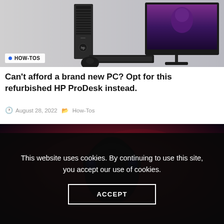[Figure (photo): HP ProDesk desktop computer with keyboard, mouse, and monitor showing a gaming image]
HOW-TOS
Can't afford a brand new PC? Opt for this refurbished HP ProDesk instead.
August 28, 2022   How-Tos
[Figure (photo): Person wearing gaming headphones against a red smoky background]
This website uses cookies. By continuing to use this site, you accept our use of cookies.
ACCEPT